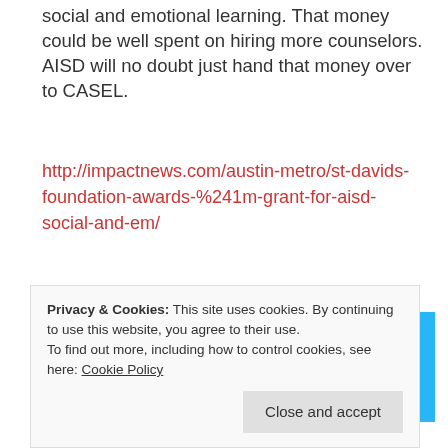social and emotional learning. That money could be well spent on hiring more counselors. AISD will no doubt just hand that money over to CASEL.
http://impactnews.com/austin-metro/st-davids-foundation-awards-%241m-grant-for-aisd-social-and-em/
Advertisements
[Figure (illustration): Blue advertisement banner with illustration of a person wearing headphones flanked by two circular icons showing a notebook and a document/list, on a light blue background with sparkle decorations.]
Privacy & Cookies: This site uses cookies. By continuing to use this website, you agree to their use.
To find out more, including how to control cookies, see here: Cookie Policy